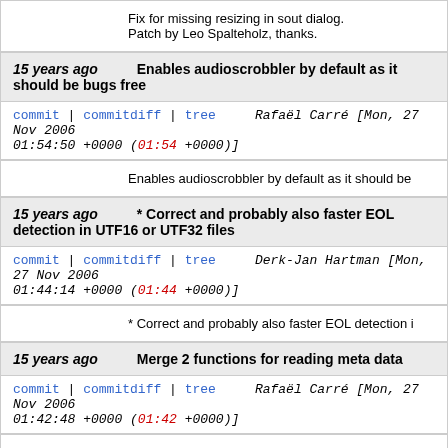Fix for missing resizing in sout dialog. Patch by Leo Spalteholz, thanks.
15 years ago   Enables audioscrobbler by default as it should be bugs free
commit | commitdiff | tree   Rafaël Carré [Mon, 27 Nov 2006 01:54:50 +0000 (01:54 +0000)]
Enables audioscrobbler by default as it should be
15 years ago   * Correct and probably also faster EOL detection in UTF16 or UTF32 files
commit | commitdiff | tree   Derk-Jan Hartman [Mon, 27 Nov 2006 01:44:14 +0000 (01:44 +0000)]
* Correct and probably also faster EOL detection i
15 years ago   Merge 2 functions for reading meta data
commit | commitdiff | tree   Rafaël Carré [Mon, 27 Nov 2006 01:42:48 +0000 (01:42 +0000)]
Merge 2 functions for reading meta data
Simplify interval checking
Sleeps 10 seconds more